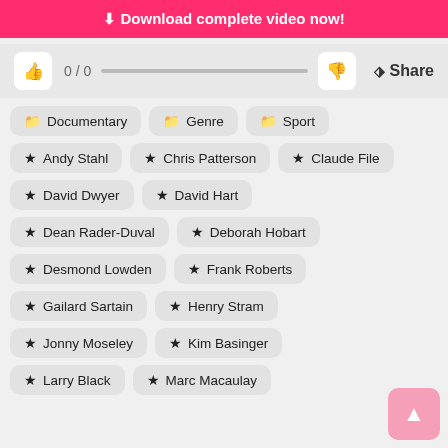Download complete video now!
0 / 0  Share
Documentary
Genre
Sport
Andy Stahl
Chris Patterson
Claude File
David Dwyer
David Hart
Dean Rader-Duval
Deborah Hobart
Desmond Lowden
Frank Roberts
Gailard Sartain
Henry Stram
Jonny Moseley
Kim Basinger
Larry Black
Marc Macaulay